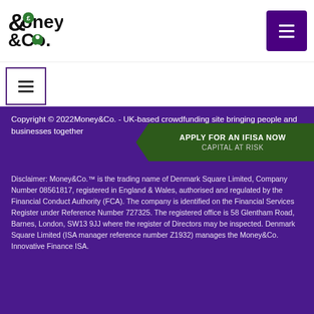[Figure (logo): Money&Co. logo with pound coin icon and person icon]
[Figure (other): Hamburger menu button top right (purple background)]
[Figure (other): Hamburger menu button secondary nav (outlined box)]
Copyright © 2022Money&Co. - UK-based crowdfunding site bringing people and businesses together
[Figure (infographic): Green pentagon CTA banner: APPLY FOR AN IFISA NOW / CAPITAL AT RISK]
Disclaimer: Money&Co.™ is the trading name of Denmark Square Limited, Company Number 08561817, registered in England & Wales, authorised and regulated by the Financial Conduct Authority (FCA). The company is identified on the Financial Services Register under Reference Number 727325. The registered office is 58 Glentham Road, Barnes, London, SW13 9JJ where the register of Directors may be inspected. Denmark Square Limited (ISA manager reference number Z1932) manages the Money&Co. Innovative Finance ISA.